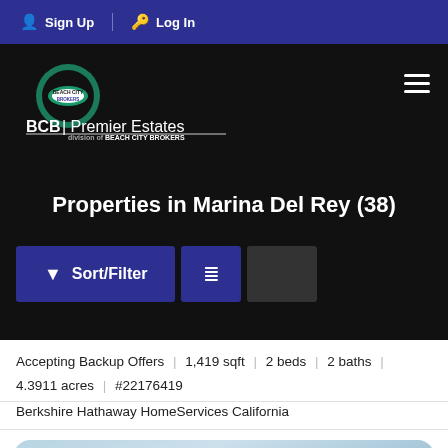Sign Up | Log In
[Figure (logo): Beach City Brokers / BCB Premier Estates logo on dark background with hamburger menu]
Properties in Marina Del Rey (38)
Sort/Filter (button) and list view (button)
Accepting Backup Offers | 1,419 sqft | 2 beds | 2 baths | 4.3911 acres | #22176419
Berkshire Hathaway HomeServices California
[Figure (photo): Light blue gradient property card with heart/favorite icon]